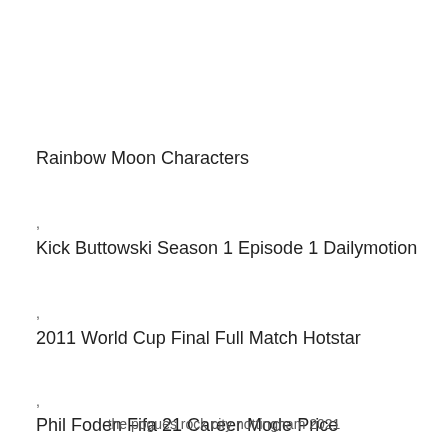Rainbow Moon Characters
,
Kick Buttowski Season 1 Episode 1 Dailymotion
,
2011 World Cup Final Full Match Hotstar
,
Phil Foden Fifa 21 Career Mode Price
,
Bis Monitor Sqi
,
Rainfall Amounts Ontario
,
the pogues rock city nottingham 2021